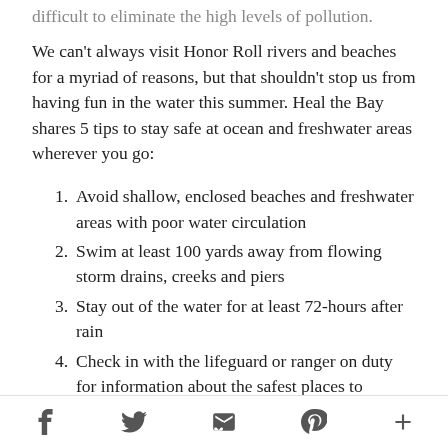difficult to eliminate the high levels of pollution.
We can't always visit Honor Roll rivers and beaches for a myriad of reasons, but that shouldn't stop us from having fun in the water this summer. Heal the Bay shares 5 tips to stay safe at ocean and freshwater areas wherever you go:
1. Avoid shallow, enclosed beaches and freshwater areas with poor water circulation
2. Swim at least 100 yards away from flowing storm drains, creeks and piers
3. Stay out of the water for at least 72-hours after rain
4. Check in with the lifeguard or ranger on duty for information about the safest places to
f  [twitter]  [email]  p  +